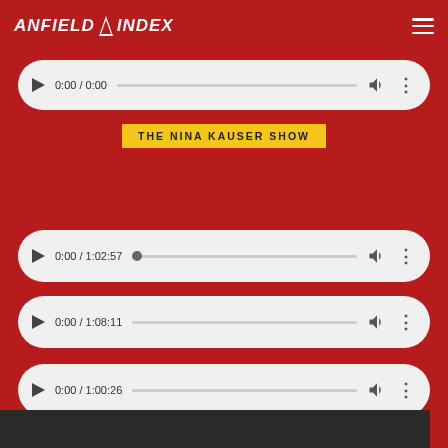ANFIELD INDEX
[Figure (screenshot): Audio player widget showing 0:00 / 0:00 with play button, progress bar, volume icon, and more options]
THE NINA KAUSER SHOW
[Figure (screenshot): Audio player widget showing 0:00 / 1:02:57 with play button, progress bar, volume icon, and more options]
[Figure (screenshot): Audio player widget showing 0:00 / 1:08:11 with play button, progress bar, volume icon, and more options]
[Figure (screenshot): Audio player widget showing 0:00 / 1:00:26 with play button, progress bar, volume icon, and more options (partially visible)]